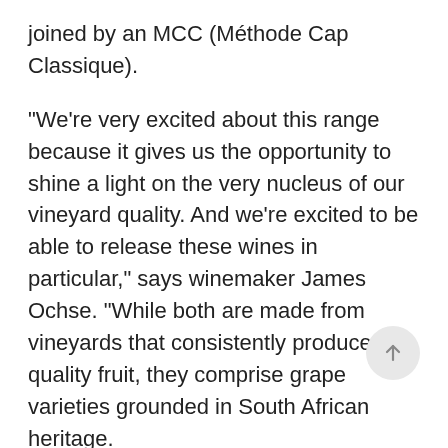joined by an MCC (Méthode Cap Classique).
“We’re very excited about this range because it gives us the opportunity to shine a light on the very nucleus of our vineyard quality. And we’re excited to be able to release these wines in particular,” says winemaker James Ochse. “While both are made from vineyards that consistently produce quality fruit, they comprise grape varieties grounded in South African heritage.
“They stand out for being Stellenbosch wines, but also quality South African wines,” he says.